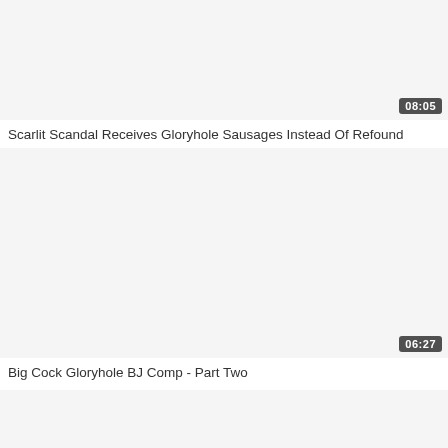[Figure (screenshot): Video thumbnail placeholder — light gray rectangle with duration badge 08:05 in bottom right corner]
Scarlit Scandal Receives Gloryhole Sausages Instead Of Refound
[Figure (screenshot): Video thumbnail placeholder — light gray rectangle with duration badge 06:27 in bottom right corner]
Big Cock Gloryhole BJ Comp - Part Two
[Figure (screenshot): Video thumbnail placeholder — light gray rectangle, partial, no badge visible]